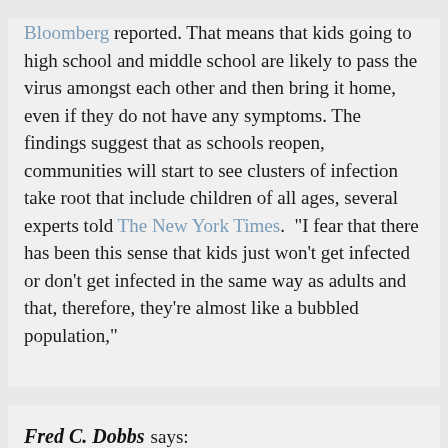Bloomberg reported. That means that kids going to high school and middle school are likely to pass the virus amongst each other and then bring it home, even if they do not have any symptoms. The findings suggest that as schools reopen, communities will start to see clusters of infection take root that include children of all ages, several experts told The New York Times. "I fear that there has been this sense that kids just won't get infected or don't get infected in the same way as adults and that, therefore, they're almost like a bubbled population,"
Fred C. Dobbs says: July 26, 2020 at 9:06 am
Reopening Schools Is Way Harder Than It Should Be